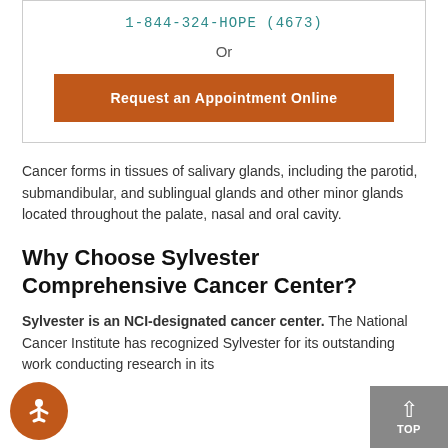1-844-324-HOPE (4673)
Or
Request an Appointment Online
Cancer forms in tissues of salivary glands, including the parotid, submandibular, and sublingual glands and other minor glands located throughout the palate, nasal and oral cavity.
Why Choose Sylvester Comprehensive Cancer Center?
Sylvester is an NCI-designated cancer center. The National Cancer Institute has recognized Sylvester for its outstanding work conducting research in its